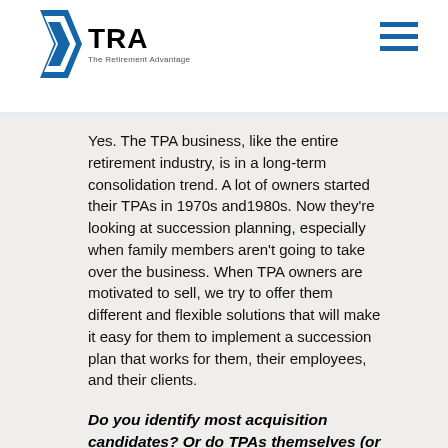TRA | The Retirement Advantage
Yes. The TPA business, like the entire retirement industry, is in a long-term consolidation trend. A lot of owners started their TPAs in 1970s and1980s. Now they're looking at succession planning, especially when family members aren't going to take over the business. When TPA owners are motivated to sell, we try to offer them different and flexible solutions that will make it easy for them to implement a succession plan that works for them, their employees, and their clients.
Do you identify most acquisition candidates? Or do TPAs themselves (or their investment bankers) identify them?
We identify most of them. As I've said, many TPA owners contact us. We identify some acquisition candidates ourselves, especially through one-on-one networking or